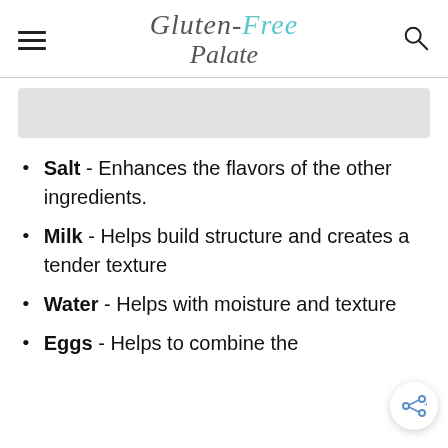Gluten-Free Palate
[Figure (other): Partially visible image placeholder at top of content area]
Salt - Enhances the flavors of the other ingredients.
Milk - Helps build structure and creates a tender texture
Water - Helps with moisture and texture
Eggs - Helps to combine the